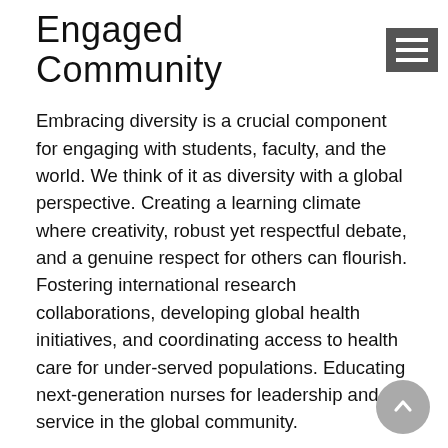Engaged Community
Embracing diversity is a crucial component for engaging with students, faculty, and the world. We think of it as diversity with a global perspective. Creating a learning climate where creativity, robust yet respectful debate, and a genuine respect for others can flourish. Fostering international research collaborations, developing global health initiatives, and coordinating access to health care for under-served populations. Educating next-generation nurses for leadership and service in the global community.
Diversity with a global perspective assures a warm welcome—not mere tolerance—for differences in national origin, race, color, religion, sex, age, sexual orientation, gender identity, disability, or veteran